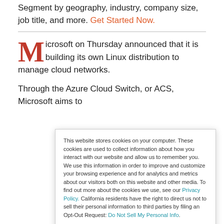Segment by geography, industry, company size, job title, and more. Get Started Now.
Microsoft on Thursday announced that it is building its own Linux distribution to manage cloud networks.
Through the Azure Cloud Switch, or ACS, Microsoft aims to
This website stores cookies on your computer. These cookies are used to collect information about how you interact with our website and allow us to remember you. We use this information in order to improve and customize your browsing experience and for analytics and metrics about our visitors both on this website and other media. To find out more about the cookies we use, see our Privacy Policy. California residents have the right to direct us not to sell their personal information to third parties by filing an Opt-Out Request: Do Not Sell My Personal Info.
Accept